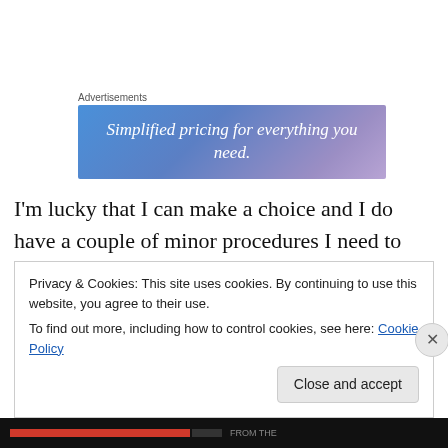Advertisements
[Figure (illustration): Advertisement banner with gradient blue-purple background and white italic text reading 'Simplified pricing for everything you need.']
I'm lucky that I can make a choice and I do have a couple of minor procedures I need to undergo soon. I can assure you, I will be using my medical insurance and going private.
Privacy & Cookies: This site uses cookies. By continuing to use this website, you agree to their use.
To find out more, including how to control cookies, see here: Cookie Policy
Close and accept